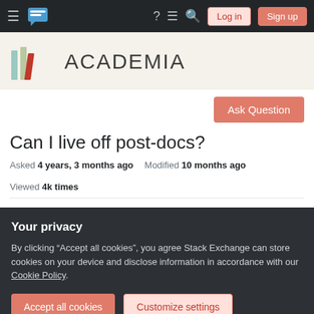Academia Stack Exchange navigation bar with hamburger menu, logo, icons, Log in and Sign up buttons
[Figure (logo): Academia Stack Exchange logo with colored vertical bars and text ACADEMIA]
Ask Question
Can I live off post-docs?
Asked 4 years, 3 months ago   Modified 10 months ago   Viewed 4k times
I'm currently a theoretical/mathematical physics PhD
Your privacy
By clicking "Accept all cookies", you agree Stack Exchange can store cookies on your device and disclose information in accordance with our Cookie Policy.
Accept all cookies   Customize settings
legitimate president being replaced by a puppet.